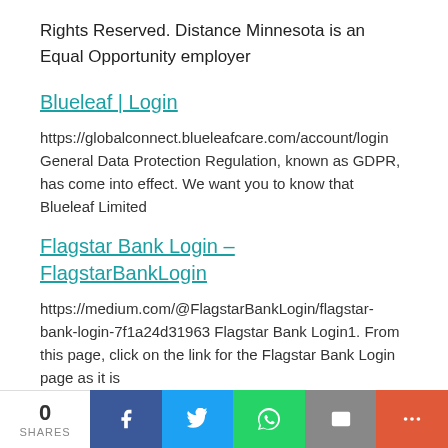Rights Reserved. Distance Minnesota is an Equal Opportunity employer
Blueleaf | Login
https://globalconnect.blueleafcare.com/account/login General Data Protection Regulation, known as GDPR, has come into effect. We want you to know that Blueleaf Limited
Flagstar Bank Login – FlagstarBankLogin
https://medium.com/@FlagstarBankLogin/flagstar-bank-login-7f1a24d31963 Flagstar Bank Login1. From this page, click on the link for the Flagstar Bank Login page as it is
0 SHARES | Facebook | Twitter | WhatsApp | Email | More